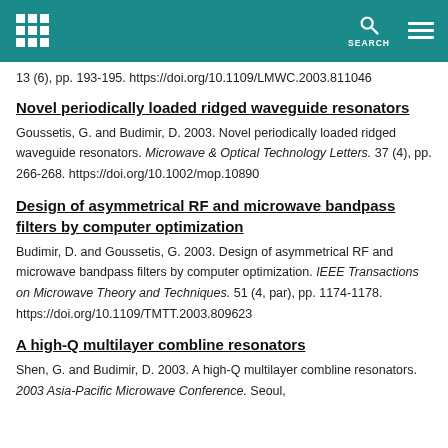SEARCH
13 (6), pp. 193-195. https://doi.org/10.1109/LMWC.2003.811046
Novel periodically loaded ridged waveguide resonators
Goussetis, G. and Budimir, D. 2003. Novel periodically loaded ridged waveguide resonators. Microwave & Optical Technology Letters. 37 (4), pp. 266-268. https://doi.org/10.1002/mop.10890
Design of asymmetrical RF and microwave bandpass filters by computer optimization
Budimir, D. and Goussetis, G. 2003. Design of asymmetrical RF and microwave bandpass filters by computer optimization. IEEE Transactions on Microwave Theory and Techniques. 51 (4, par), pp. 1174-1178. https://doi.org/10.1109/TMTT.2003.809623
A high-Q multilayer combline resonators
Shen, G. and Budimir, D. 2003. A high-Q multilayer combline resonators. 2003 Asia-Pacific Microwave Conference. Seoul,